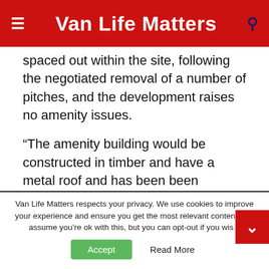Van Life Matters
spaced out within the site, following the negotiated removal of a number of pitches, and the development raises no amenity issues.
“The amenity building would be constructed in timber and have a metal roof and has been been designed to harmonise with the locality.
“In conclusion, the principle of the development is supported by the Local Development Plan and
Van Life Matters respects your privacy. We use cookies to improve your experience and ensure you get the most relevant content. We assume you’re ok with this, but you can opt-out if you wish.